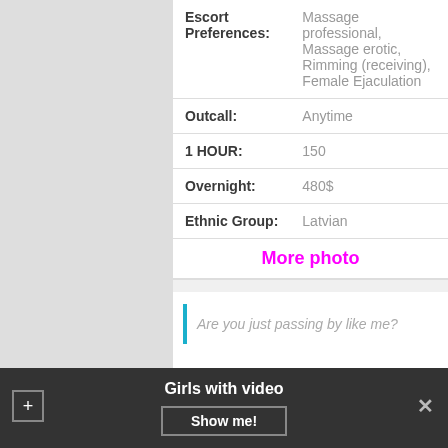| Field | Value |
| --- | --- |
| Escort Preferences: | Massage professional, Massage erotic, Rimming (receiving), Female Ejaculation |
| Outcall: | Anytime |
| 1 HOUR: | 150 |
| Overnight: | 480$ |
| Ethnic Group: | Latvian |
More photo
Are you just passing by like me?
Jolie
Girls with video
Show me!